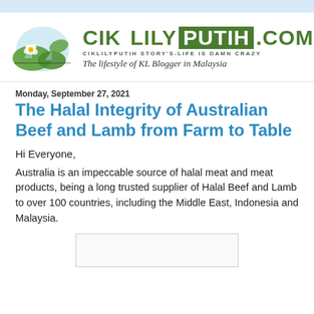[Figure (logo): Cik Lily Putih blog logo with lily pad illustration and site name/tagline]
Monday, September 27, 2021
The Halal Integrity of Australian Beef and Lamb from Farm to Table
Hi Everyone,
Australia is an impeccable source of halal meat and meat products, being a long trusted supplier of Halal Beef and Lamb to over 100 countries, including the Middle East, Indonesia and Malaysia.
[Figure (photo): Partially visible image at bottom of page]